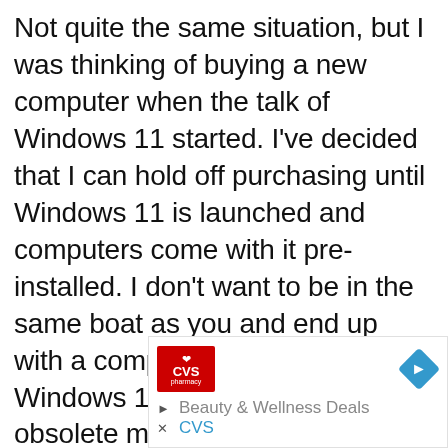Not quite the same situation, but I was thinking of buying a new computer when the talk of Windows 11 started. I've decided that I can hold off purchasing until Windows 11 is launched and computers come with it pre-installed. I don't want to be in the same boat as you and end up with a computer that won't take Windows 11 and be stuck with an obsolete machine in 2025.
[Figure (other): CVS Pharmacy advertisement banner showing CVS logo, a navigation/direction diamond icon, Beauty & Wellness Deals label, and CVS text link.]